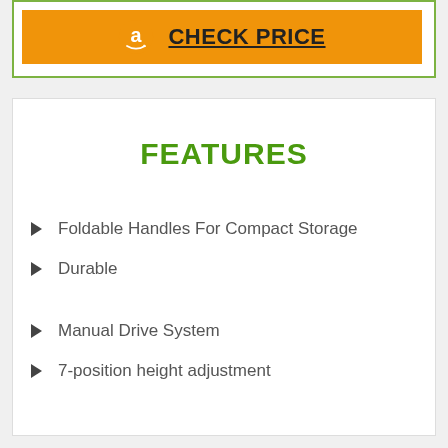[Figure (other): Amazon CHECK PRICE button with orange background and Amazon logo]
FEATURES
Foldable Handles For Compact Storage
Durable
Manual Drive System
7-position height adjustment